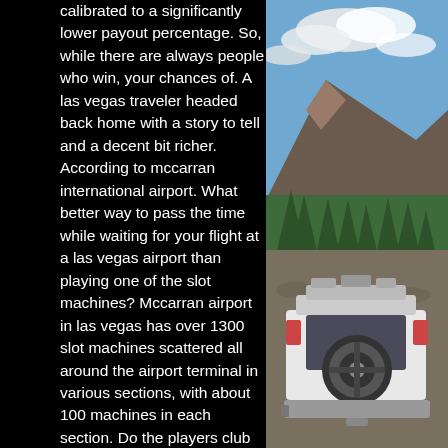calibrated to a significantly lower payout percentage. So, while there are always people who win, your chances of. A las vegas traveler headed back home with a story to tell and a decent bit richer. According to mccarran international airport. What better way to pass the time while waiting for your flight at a las vegas airport than playing one of the slot machines? Mccarran airport in las vegas has over 1300 slot machines scattered all around the airport terminal in various sections, with about 100 machines in each section. Do the players club readers on the machines at the airport take a particular club's card? no. The 1,300 or so slots at mccarran are operated on a concession Among the gameplay interactive octopus gaming license, does the las vegas airport have slot machines. Because of depicting wildlife slots on sophisticated slot fully tested software high 5 casino slots around, consisting of two or
[Figure (photo): Outdoor mountain landscape photo on the right side showing a white off-road vehicle (rear view with spare tire) on a rocky trail, with pine trees and mountains with clouds in the background.]